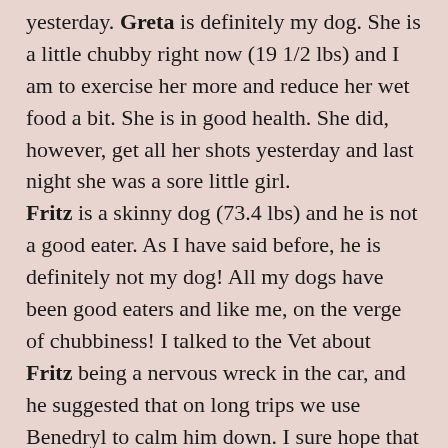yesterday. Greta is definitely my dog. She is a little chubby right now (19 1/2 lbs) and I am to exercise her more and reduce her wet food a bit. She is in good health. She did, however, get all her shots yesterday and last night she was a sore little girl. Fritz is a skinny dog (73.4 lbs) and he is not a good eater. As I have said before, he is definitely not my dog! All my dogs have been good eaters and like me, on the verge of chubbiness! I talked to the Vet about Fritz being a nervous wreck in the car, and he suggested that on long trips we use Benedryl to calm him down. I sure hope that works. If not, I have the sign made.
[Figure (photo): Image placeholder labeled shepfree.jpg]